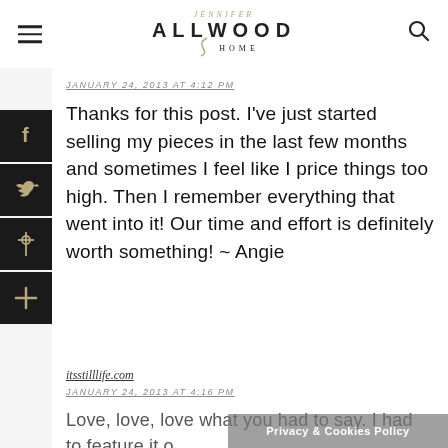[Figure (logo): Jennifer Allwood Home logo with hamburger menu and search icon]
JANUARY 24, 2013 AT 4:12 PM
Thanks for this post. I've just started selling my pieces in the last few months and sometimes I feel like I price things too high. Then I remember everything that went into it! Our time and effort is definitely worth something! ~ Angie
itsstilllife.com
JANUARY 24, 2013 AT 4:16 PM
Love, love, love what you had to say. I had to feature it o...
Privacy & Cookies Policy